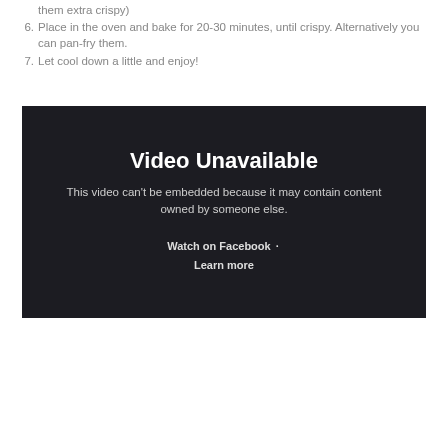them extra crispy)
Place in the oven and bake for 20-30 minutes, until crispy. Alternatively you can pan-fry them.
Let cool down a little and enjoy!
[Figure (screenshot): Video Unavailable embedded video placeholder with dark background. Text reads: 'Video Unavailable. This video can't be embedded because it may contain content owned by someone else. Watch on Facebook · Learn more']